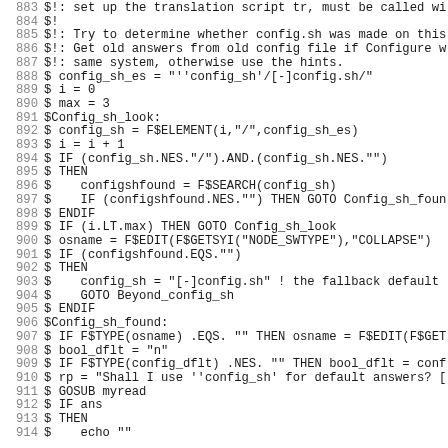Code listing lines 883-914, shell/DCL script source code